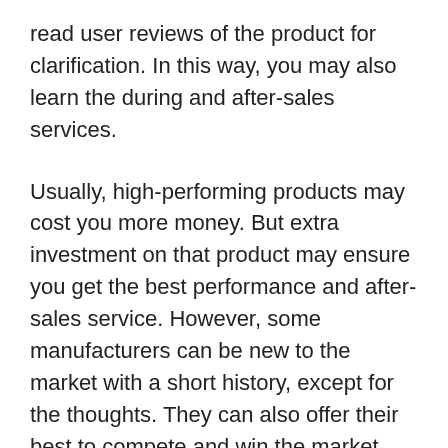read user reviews of the product for clarification. In this way, you may also learn the during and after-sales services.
Usually, high-performing products may cost you more money. But extra investment on that product may ensure you get the best performance and after-sales service. However, some manufacturers can be new to the market with a short history, except for the thoughts. They can also offer their best to compete and win the market.
Practical Features:
This is the next thing to look at when buying the best fleece lined tights. Always try to match the